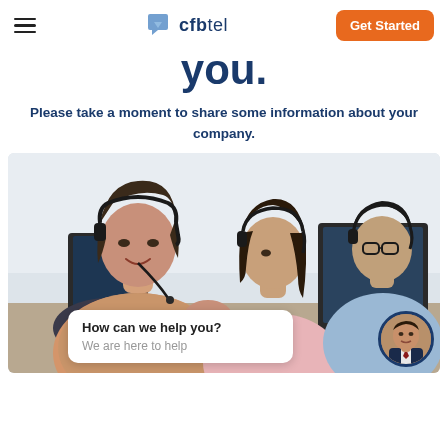cfbtel — Get Started
you.
Please take a moment to share some information about your company.
[Figure (photo): Three call center workers sitting at desks with headsets; a woman in the foreground is smiling at the camera, a woman in a pink top is in the middle, and a man with glasses is in the background.]
How can we help you?
We are here to help